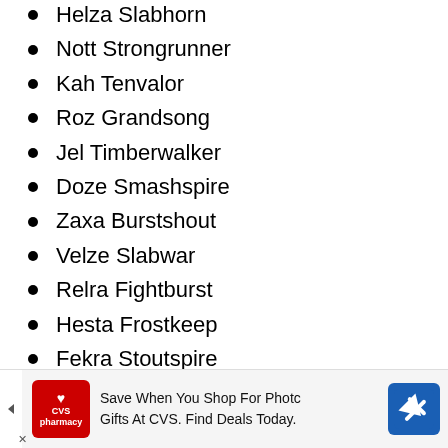Helza Slabhorn
Nott Strongrunner
Kah Tenvalor
Roz Grandsong
Jel Timberwalker
Doze Smashspire
Zaxa Burstshout
Velze Slabwar
Relra Fightburst
Hesta Frostkeep
Fekra Stoutspire
Kat Redmight
Vel Titanmaster
No Frostb...
[Figure (other): CVS Pharmacy advertisement banner: Save When You Shop For Photo Gifts At CVS. Find Deals Today.]